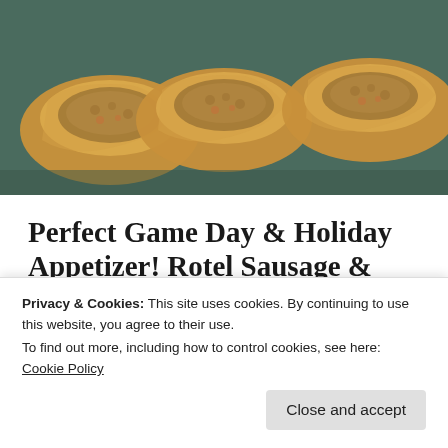[Figure (photo): Three sausage and cream cheese crescent rolls photographed from above on a dark teal surface, filled with a meat and pepper mixture]
Perfect Game Day & Holiday Appetizer! Rotel Sausage & Cream Cheese Crescents.
I am all about easy recipes and very little prep time.
These rotel sausage and cream cheese crescent rolls are
Privacy & Cookies: This site uses cookies. By continuing to use this website, you agree to their use.
To find out more, including how to control cookies, see here: Cookie Policy
husband and I devoured them!